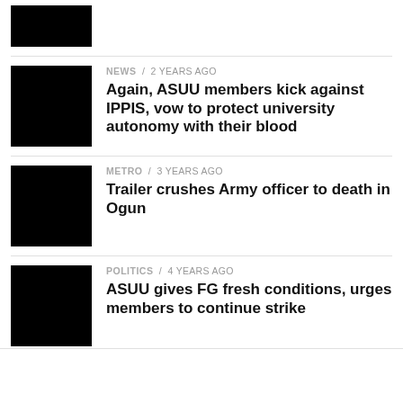[Figure (photo): Black thumbnail image at top]
NEWS / 2 years ago
Again, ASUU members kick against IPPIS, vow to protect university autonomy with their blood
METRO / 3 years ago
Trailer crushes Army officer to death in Ogun
POLITICS / 4 years ago
ASUU gives FG fresh conditions, urges members to continue strike